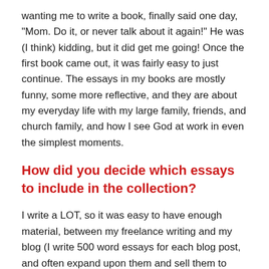wanting me to write a book, finally said one day, “Mom. Do it, or never talk about it again!” He was (I think) kidding, but it did get me going! Once the first book came out, it was fairly easy to just continue. The essays in my books are mostly funny, some more reflective, and they are about my everyday life with my large family, friends, and church family, and how I see God at work in even the simplest moments.
How did you decide which essays to include in the collection?
I write a LOT, so it was easy to have enough material, between my freelance writing and my blog (I write 500 word essays for each blog post, and often expand upon them and sell them to various outlets). After everything went to the publisher one final time, I found a